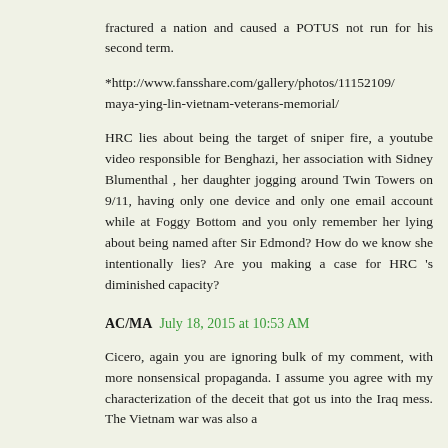fractured a nation and caused a POTUS not run for his second term.
*http://www.fansshare.com/gallery/photos/11152109/maya-ying-lin-vietnam-veterans-memorial/
HRC lies about being the target of sniper fire, a youtube video responsible for Benghazi, her association with Sidney Blumenthal , her daughter jogging around Twin Towers on 9/11, having only one device and only one email account while at Foggy Bottom and you only remember her lying about being named after Sir Edmond? How do we know she intentionally lies? Are you making a case for HRC 's diminished capacity?
AC/MA July 18, 2015 at 10:53 AM
Cicero, again you are ignoring bulk of my comment, with more nonsensical propaganda. I assume you agree with my characterization of the deceit that got us into the Iraq mess. The Vietnam war was also a